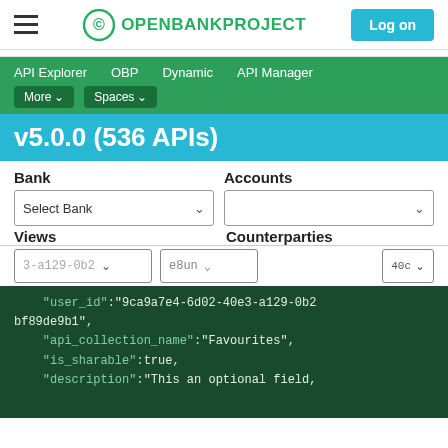OPENBANKPROJECT — Log on
API Explorer   OBP   Dynamic   API Manager   More ▾   Spaces ▾
v5.0.0 (536 APIs)
Bank   Accounts   Select Bank ∨   Views   Counterparties
3-a129-0b2   e8un",
    "user_id":"9ca9a7e4-6d02-40e3-a129-0b2
bf89de9b1",
    "api_collection_name":"Favourites",
    "is_sharable":true,
    "description":"This an optional field,